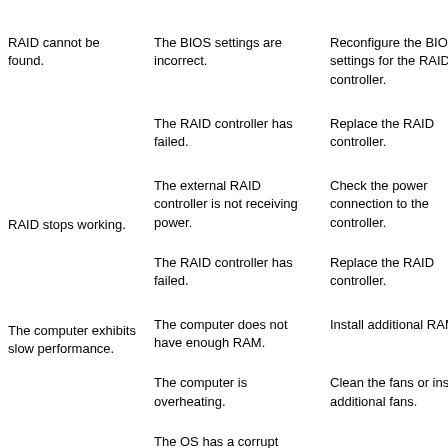| Problem | Cause | Solution |
| --- | --- | --- |
| RAID cannot be found. | The BIOS settings are incorrect. | Reconfigure the BIOS settings for the RAID controller. |
|  | The RAID controller has failed. | Replace the RAID controller. |
| RAID stops working. | The external RAID controller is not receiving power. | Check the power connection to the controller. |
|  | The RAID controller has failed. | Replace the RAID controller. |
| The computer exhibits slow performance. | The computer does not have enough RAM. | Install additional RAM. |
|  | The computer is overheating. | Clean the fans or install additional fans. |
|  | The OS has a corrupted file. |  |